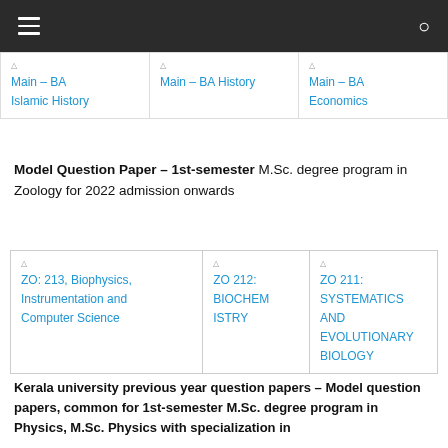≡  Q
| Main – BA Islamic History | Main – BA History | Main – BA Economics |
Model Question Paper – 1st-semester M.Sc. degree program in Zoology for 2022 admission onwards
| ZO: 213, Biophysics, Instrumentation and Computer Science | ZO 212: BIOCHEMISTRY | ZO 211: SYSTEMATICS AND EVOLUTIONARY BIOLOGY |
Kerala university previous year question papers – Model question papers, common for 1st-semester M.Sc. degree program in Physics, M.Sc. Physics with specialization in